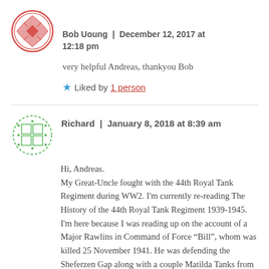[Figure (illustration): Avatar icon for Bob Uoung — circular red-outlined icon with a pink diamond/quilt pattern]
Bob Uoung | December 12, 2017 at 12:18 pm
very helpful Andreas, thankyou Bob
★ Liked by 1 person
[Figure (illustration): Avatar icon for Richard — circular green-outlined icon with a green grid/tile pattern]
Richard | January 8, 2018 at 8:39 am
Hi, Andreas.
My Great-Uncle fought with the 44th Royal Tank Regiment during WW2. I'm currently re-reading The History of the 44th Royal Tank Regiment 1939-1945. I'm here because I was reading up on the account of a Major Rawlins in Command of Force “Bill”, whom was killed 25 November 1941. He was defending the Sheferzen Gap along with a couple Matilda Tanks from both 42 RTR and 44 RTR. I decided to Google him, and it brought me to your article. I got cut off...